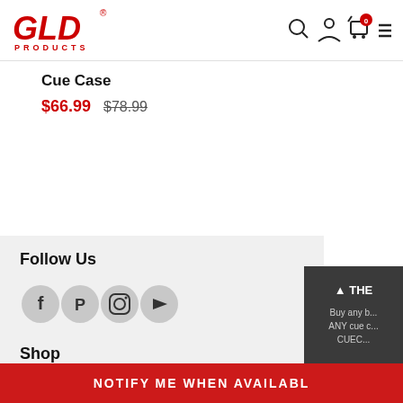[Figure (logo): GLD Products logo in red with bold GLD lettering and PRODUCTS text below]
Cue Case
$66.99  $78.99
Follow Us
[Figure (infographic): Social media icons: Facebook, Pinterest, Instagram, YouTube in grey circles]
Shop
THE
Buy any b...
ANY cue c...
CUEC...
NOTIFY ME WHEN AVAILABL